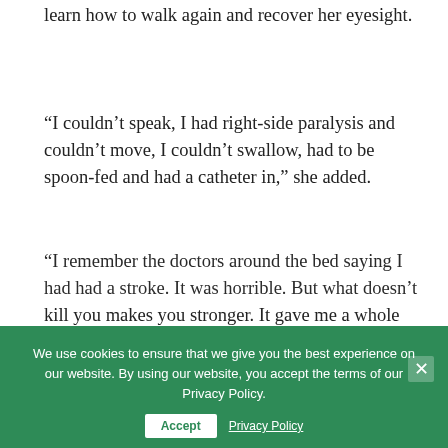learn how to walk again and recover her eyesight.
“I couldn’t speak, I had right-side paralysis and couldn’t move, I couldn’t swallow, had to be spoon-fed and had a catheter in,” she added.
“I remember the doctors around the bed saying I had had a stroke. It was horrible. But what doesn’t kill you makes you stronger. It gave me a whole different outlook on life.
“They (medical teams) said they had no way of telling at the time how permanent the damage was.”
In Curl, Ms Murray’s care was managed by the stroke and physiotherapy teams as she gradually rebuilt her strength, underwent speech therapy but also battled extreme
We use cookies to ensure that we give you the best experience on our website. By using our website, you accept the terms of our Privacy Policy.